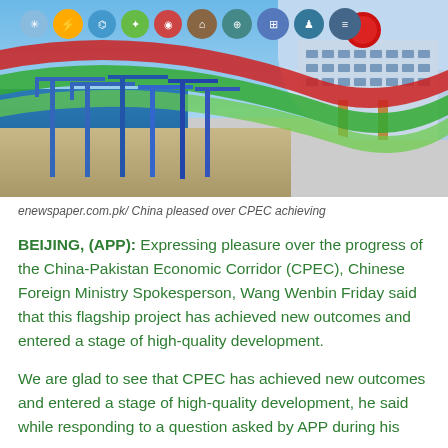[Figure (photo): CPEC infographic banner showing a port with cranes, colorful ribbon with infrastructure icons, and a government building in the top-right corner.]
enewspaper.com.pk/ China pleased over CPEC achieving
BEIJING, (APP): Expressing pleasure over the progress of the China-Pakistan Economic Corridor (CPEC), Chinese Foreign Ministry Spokesperson, Wang Wenbin Friday said that this flagship project has achieved new outcomes and entered a stage of high-quality development.
We are glad to see that CPEC has achieved new outcomes and entered a stage of high-quality development, he said while responding to a question asked by APP during his